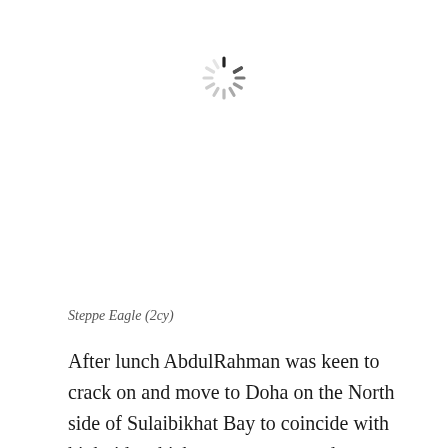[Figure (other): Loading spinner icon — circular arrangement of short radial dashes in shades of gray, indicating a loading state]
Steppe Eagle (2cy)
After lunch AbdulRahman was keen to crack on and move to Doha on the North side of Sulaibikhat Bay to coincide with high tide which concentrates waders, herons, gulls and terns onto a sandy spit. Whilst this site does not offer great photographic opportunities it is